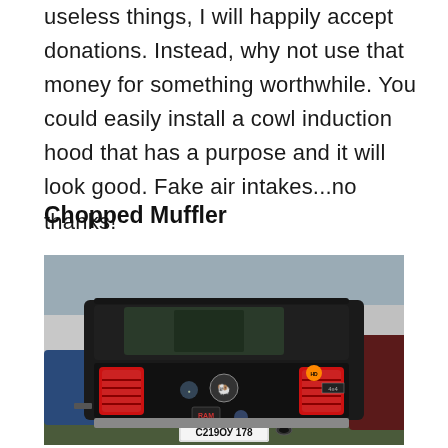useless things, I will happily accept donations. Instead, why not use that money for something worthwhile. You could easily install a cowl induction hood that has a purpose and it will look good. Fake air intakes...no thanks!
Chopped Muffler
[Figure (photo): Rear view of a black Dodge Ram pickup truck with a Russian license plate C219OY 178, parked in a lot with other vehicles and commercial buildings in the background. The truck has various stickers including a Harley-Davidson badge, RAM logo, and 4x4 badge.]